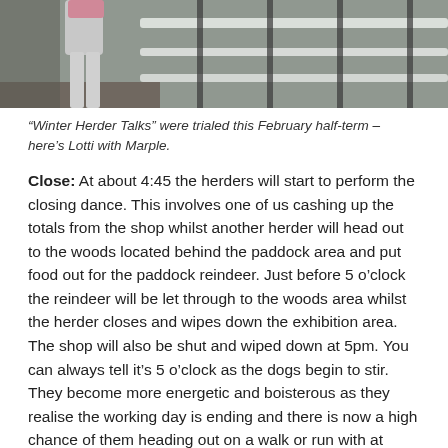[Figure (photo): Partial photo showing a person in light grey trousers standing on a snowy wooden deck or bridge structure, with snow-covered fence rails visible in the background.]
“Winter Herder Talks” were trialed this February half-term – here’s Lotti with Marple.
Close: At about 4:45 the herders will start to perform the closing dance. This involves one of us cashing up the totals from the shop whilst another herder will head out to the woods located behind the paddock area and put food out for the paddock reindeer. Just before 5 o’clock the reindeer will be let through to the woods area whilst the herder closes and wipes down the exhibition area. The shop will also be shut and wiped down at 5pm. You can always tell it’s 5 o’clock as the dogs begin to stir. They become more energetic and boisterous as they realise the working day is ending and there is now a high chance of them heading out on a walk or run with at least one herder.